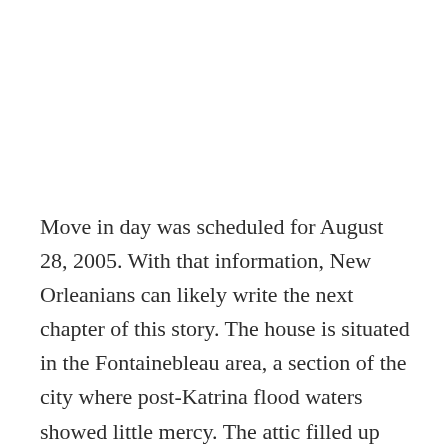Move in day was scheduled for August 28, 2005. With that information, New Orleanians can likely write the next chapter of this story. The house is situated in the Fontainebleau area, a section of the city where post-Katrina flood waters showed little mercy. The attic filled up with water and ultimately deluged the second floor, while water topped the air conditioning units underneath the house.